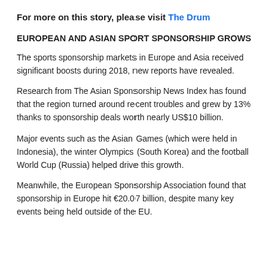For more on this story, please visit The Drum
EUROPEAN AND ASIAN SPORT SPONSORSHIP GROWS
The sports sponsorship markets in Europe and Asia received significant boosts during 2018, new reports have revealed.
Research from The Asian Sponsorship News Index has found that the region turned around recent troubles and grew by 13% thanks to sponsorship deals worth nearly US$10 billion.
Major events such as the Asian Games (which were held in Indonesia), the winter Olympics (South Korea) and the football World Cup (Russia) helped drive this growth.
Meanwhile, the European Sponsorship Association found that sponsorship in Europe hit €20.07 billion, despite many key events being held outside of the EU.